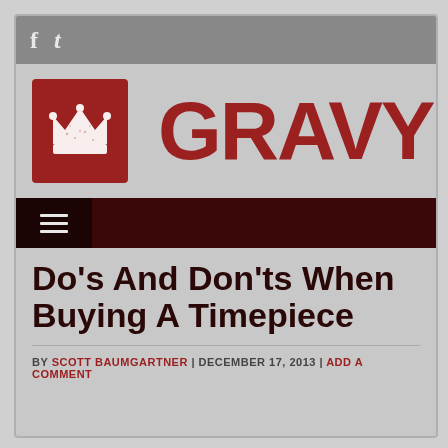f  t
[Figure (logo): Weekly Gravy logo — red square with white chess queen crown icon, beside 'WEEKLY' in small vertical red text and 'GRAVY' in large bold red text]
≡ (hamburger navigation menu)
Do's And Don'ts When Buying A Timepiece
BY SCOTT BAUMGARTNER | DECEMBER 17, 2013 | ADD A COMMENT